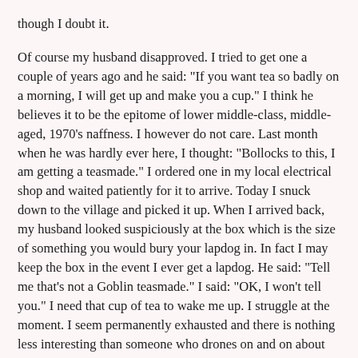though I doubt it.
Of course my husband disapproved. I tried to get one a couple of years ago and he said: "If you want tea so badly on a morning, I will get up and make you a cup." I think he believes it to be the epitome of lower middle-class, middle-aged, 1970's naffness. I however do not care. Last month when he was hardly ever here, I thought: "Bollocks to this, I am getting a teasmade." I ordered one in my local electrical shop and waited patiently for it to arrive. Today I snuck down to the village and picked it up. When I arrived back, my husband looked suspiciously at the box which is the size of something you would bury your lapdog in. In fact I may keep the box in the event I ever get a lapdog. He said: "Tell me that's not a Goblin teasmade." I said: "OK, I won't tell you." I need that cup of tea to wake me up. I struggle at the moment. I seem permanently exhausted and there is nothing less interesting than someone who drones on and on about how tired they are other than those people who insist on telling you about their holidays. I have already cleaned it and run it through its first cycle as instructed by the leaflet. The leaflet is full of dire warnings such as "Do not remove tea pot